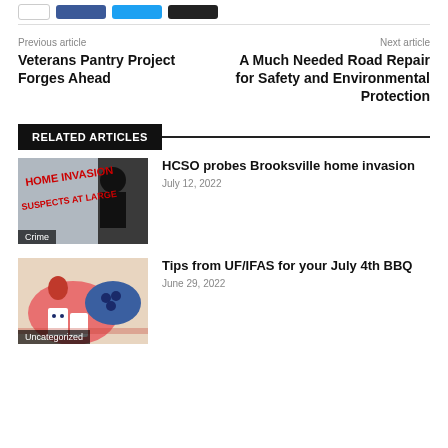Share buttons row
Previous article
Veterans Pantry Project Forges Ahead
Next article
A Much Needed Road Repair for Safety and Environmental Protection
RELATED ARTICLES
[Figure (photo): Home invasion news image with text overlay: HOME INVASION, SUSPECTS AT LARGE. Category label: Crime]
HCSO probes Brooksville home invasion
July 12, 2022
[Figure (photo): July 4th BBQ food image with strawberries, blueberries, and patriotic items. Category label: Uncategorized]
Tips from UF/IFAS for your July 4th BBQ
June 29, 2022